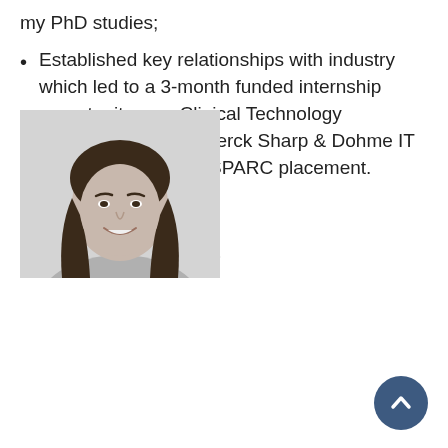my PhD studies;
Established key relationships with industry which led to a 3-month funded internship opportunity as a Clinical Technology Research Intern at Merck Sharp & Dohme IT Hub in Prague after SPARC placement.
Outputs:
Possible publications.
[Figure (photo): Black and white headshot photo of a young woman with long dark hair, smiling.]